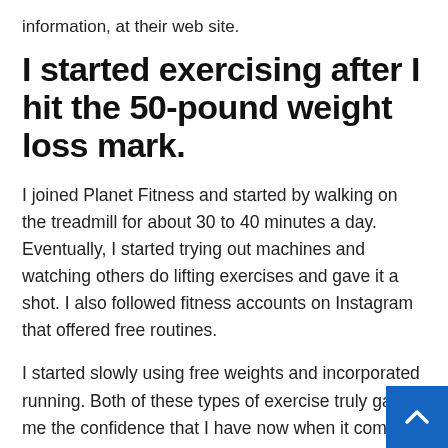information, at their web site.
I started exercising after I hit the 50-pound weight loss mark.
I joined Planet Fitness and started by walking on the treadmill for about 30 to 40 minutes a day. Eventually, I started trying out machines and watching others do lifting exercises and gave it a shot. I also followed fitness accounts on Instagram that offered free routines.
I started slowly using free weights and incorporated running. Both of these types of exercise truly gave me the confidence that I have now when it comes to working out. I completed my first 5K last November, and that